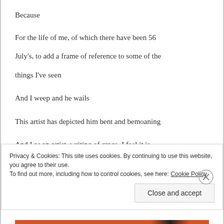Because
For the life of me, of which there have been 56 July's, to add a frame of reference to some of the things I've seen
And I weep and he wails
This artist has depicted him bent and bemoaning
And I as an artist, writing of grace, I feel it is perfectly fitting because of the pain
Privacy & Cookies: This site uses cookies. By continuing to use this website, you agree to their use.
To find out more, including how to control cookies, see here: Cookie Policy
Close and accept